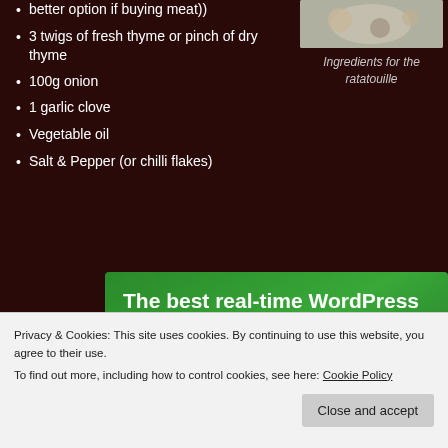better option if buying meat))
3 twigs of fresh thyme or pinch of dry thyme
100g onion
1 garlic clove
Vegetable oil
Salt & Pepper (or chilli flakes)
[Figure (photo): Photo of ingredients for the ratatouille]
Ingredients for the ratatouille
[Figure (infographic): Green advertisement banner: The best real-time WordPress backup plugin with a Back up your site button]
Privacy & Cookies: This site uses cookies. By continuing to use this website, you agree to their use.
To find out more, including how to control cookies, see here: Cookie Policy
Close and accept